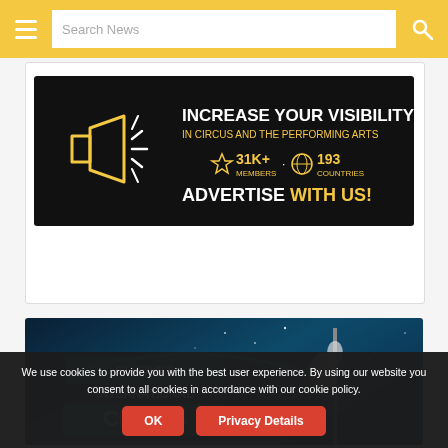Search News
[Figure (infographic): Advertisement banner: black background with yellow megaphone icon. Text: INCREASE YOUR VISIBILITY IN CIRCUS AND THE PERFORMING ARTS. 31K+ MEMBERS. 193 COUNTRIES. ADVERTISE WITH US!]
[Figure (photo): St. John's International Circus promotional image with dark blue starry background and white dove/performer silhouette]
We use cookies to provide you with the best user experience. By using our website you consent to all cookies in accordance with our cookie policy.
OK   Privacy Details